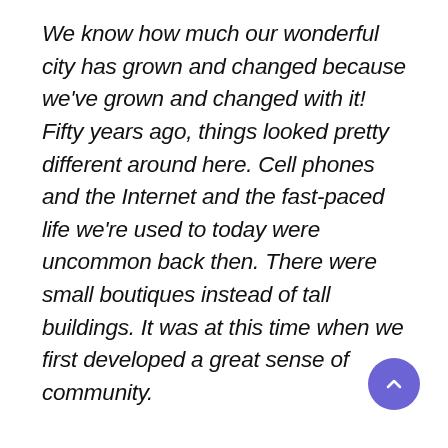We know how much our wonderful city has grown and changed because we've grown and changed with it! Fifty years ago, things looked pretty different around here. Cell phones and the Internet and the fast-paced life we're used to today were uncommon back then. There were small boutiques instead of tall buildings. It was at this time when we first developed a great sense of community.
[Figure (other): A circular purple scroll-to-top button with a white upward chevron arrow, positioned in the lower right area of the page.]